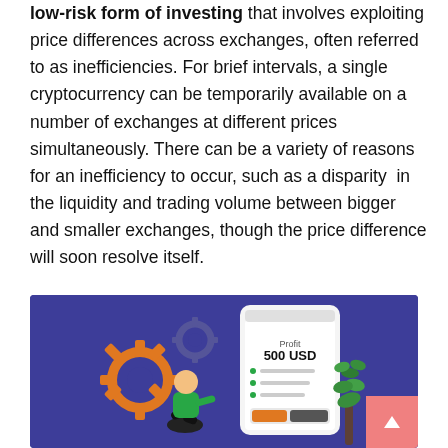low-risk form of investing that involves exploiting price differences across exchanges, often referred to as inefficiencies. For brief intervals, a single cryptocurrency can be temporarily available on a number of exchanges at different prices simultaneously. There can be a variety of reasons for an inefficiency to occur, such as a disparity in the liquidity and trading volume between bigger and smaller exchanges, though the price difference will soon resolve itself.
[Figure (illustration): Illustration on a dark purple/blue background showing a person sitting with a smartphone displaying 'Profit 500 USD', gear icons in orange, and a plant growing, representing crypto arbitrage profit concept.]